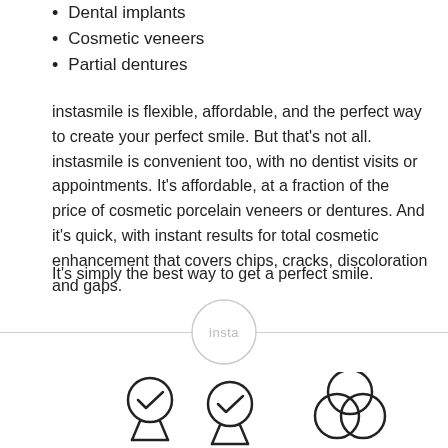Dental implants
Cosmetic veneers
Partial dentures
instasmile is flexible, affordable, and the perfect way to create your perfect smile. But that's not all. instasmile is convenient too, with no dentist visits or appointments. It's affordable, at a fraction of the price of cosmetic porcelain veneers or dentures. And it's quick, with instant results for total cosmetic enhancement that covers chips, cracks, discoloration and gaps.
It's simply the best way to get a perfect smile.
[Figure (logo): instasmile circular logo with 'insta' text inside a thin circle]
[Figure (illustration): Award/medal icon - circle with checkmark and ribbon below]
[Figure (illustration): Three overlapping circles (Venn diagram style) icon]